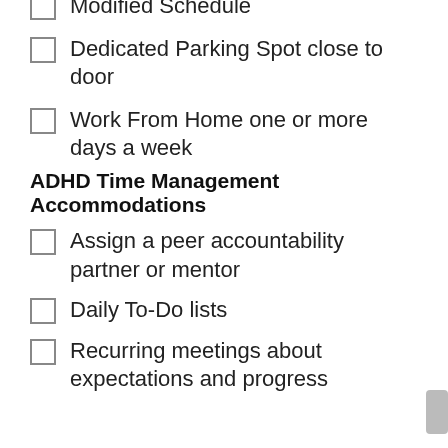Modified Schedule
Dedicated Parking Spot close to door
Work From Home one or more days a week
ADHD Time Management Accommodations
Assign a peer accountability partner or mentor
Daily To-Do lists
Recurring meetings about expectations and progress